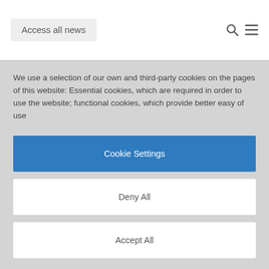Access all news
We use a selection of our own and third-party cookies on the pages of this website: Essential cookies, which are required in order to use the website; functional cookies, which provide better easy of use
Cookie Settings
Deny All
Accept All